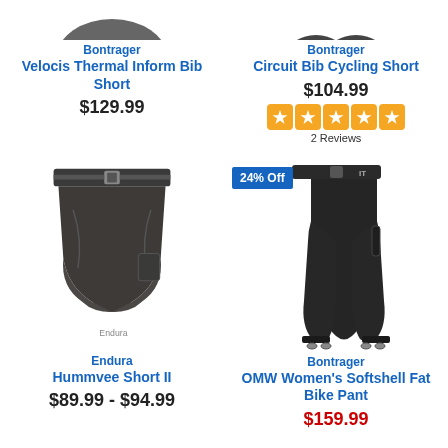Bontrager
Velocis Thermal Inform Bib Short
$129.99
Bontrager
Circuit Bib Cycling Short
$104.99
2 Reviews
[Figure (photo): Dark grey Endura cycling shorts with belt]
Endura
Hummvee Short II
$89.99 - $94.99
24% Off
[Figure (photo): Black Bontrager women's softshell fat bike pants]
Bontrager
OMW Women's Softshell Fat Bike Pant
$159.99